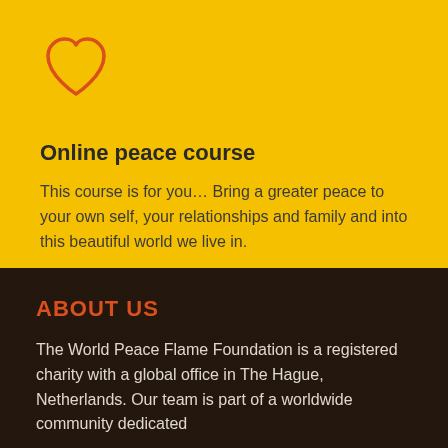[Figure (illustration): Orange heart outline icon]
Online peace course
This course is for you… Bring a greater peace to your own self, your relationships and family and into this beautiful world we live in.
ABOUT US
The World Peace Flame Foundation is a registered charity with a global office in The Hague, Netherlands. Our team is part of a worldwide community dedicated